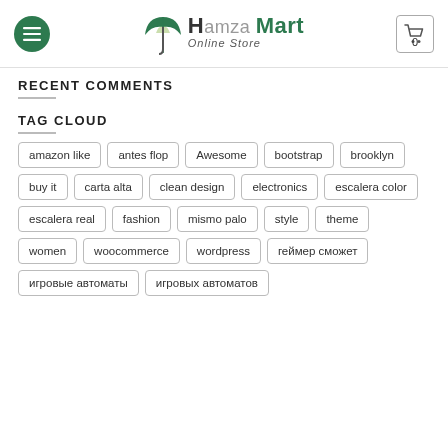Hamza Mart Online Store
RECENT COMMENTS
TAG CLOUD
amazon like
antes flop
Awesome
bootstrap
brooklyn
buy it
carta alta
clean design
electronics
escalera color
escalera real
fashion
mismo palo
style
theme
women
woocommerce
wordpress
геймер сможет
игровые автоматы
игровых автоматов